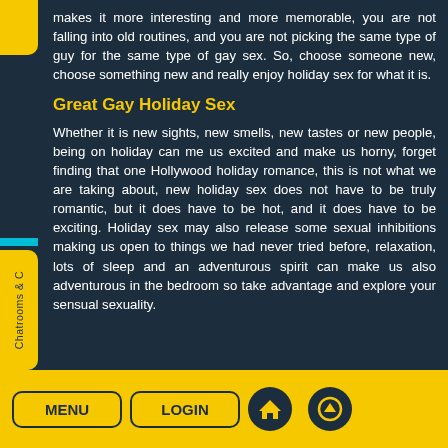makes it more interesting and more memorable, you are not falling into old routines, and you are not picking the same type of guy for the same type of gay sex. So, choose someone new, choose something new and really enjoy holiday sex for what it is.
Great Gay Holiday Sex
Whether it is new sights, new smells, new tastes or new people, being on holiday can me us excited and make us horny, forget finding that one Hollywood holiday romance, this is not what we are taking about, new holiday sex does not have to be truly romantic, but it does have to be hot, and it does have to be exciting. Holiday sex may also release some sexual inhibitions making us open to things we had never tried before, relaxation, lots of sleep and an adventurous spirit can make us also adventurous in the bedroom so take advantage and explore your sensual sexuality.
MENU  LOGIN